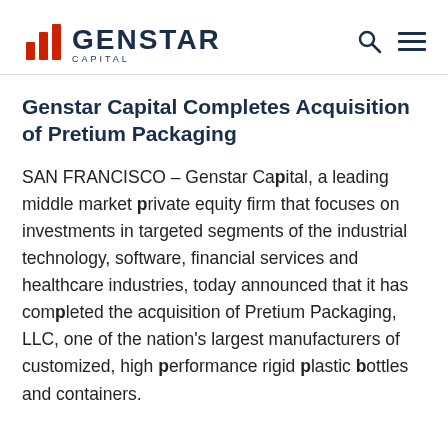GENSTAR CAPITAL
Genstar Capital Completes Acquisition of Pretium Packaging
SAN FRANCISCO – Genstar Capital, a leading middle market private equity firm that focuses on investments in targeted segments of the industrial technology, software, financial services and healthcare industries, today announced that it has completed the acquisition of Pretium Packaging, LLC, one of the nation's largest manufacturers of customized, high performance rigid plastic bottles and containers.